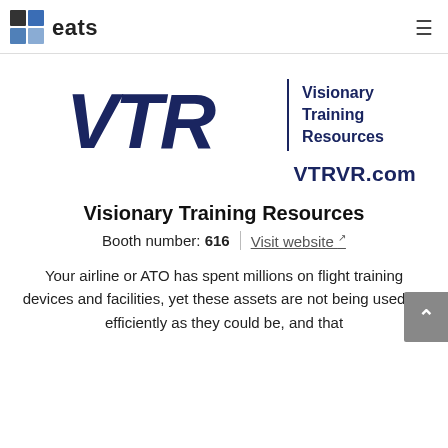eats
[Figure (logo): VTR Visionary Training Resources logo with stylized italic VTR letters in dark navy, vertical divider, and text 'Visionary Training Resources']
VTRVR.com
Visionary Training Resources
Booth number: 616  |  Visit website
Your airline or ATO has spent millions on flight training devices and facilities, yet these assets are not being used as efficiently as they could be, and that